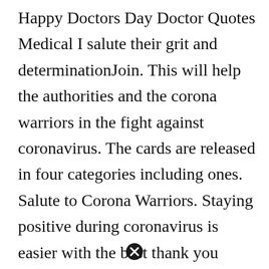Happy Doctors Day Doctor Quotes Medical I salute their grit and determinationJoin. This will help the authorities and the corona warriors in the fight against coronavirus. The cards are released in four categories including ones. Salute to Corona Warriors. Staying positive during coronavirus is easier with the best thank you coronavirus helpers YouTube videos thanking essential workers and healthcare workers are on the frontlines of the.
[Figure (other): A circular close/cancel button icon (black circle with white X)]